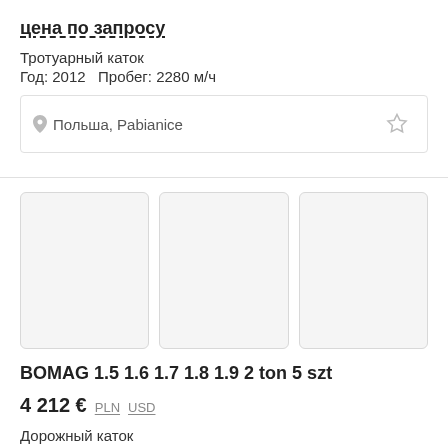цена по запросу
Тротуарный каток
Год: 2012   Пробег: 2280 м/ч
Польша, Pabianice
[Figure (photo): Three placeholder thumbnail images for a road roller listing]
BOMAG 1.5 1.6 1.7 1.8 1.9 2 ton 5 szt
4 212 €  PLN  USD
Дорожный каток
Год: 2007   Пробег: 900 м/ч